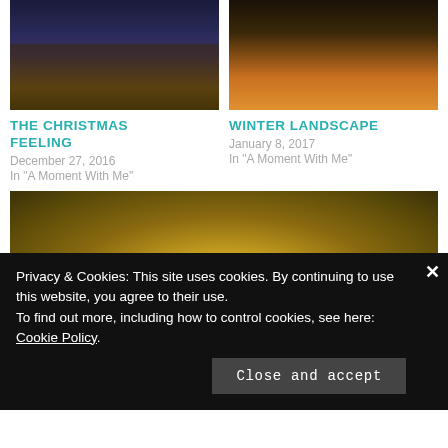[Figure (photo): Night photo of Christmas market with lights and carousel]
THE CHRISTMAS FEELING
December 27, 2016
In "A Moment With Me"
[Figure (photo): Night photo of winter street lamp glowing orange]
WINTER LANDSCAPE
January 8, 2017
In "A Moment With Me"
[Figure (photo): Photo of paella dish with lemon and spoons]
A PIECE OF SPAIN IN BUCHAREST
Privacy & Cookies: This site uses cookies. By continuing to use this website, you agree to their use.
To find out more, including how to control cookies, see here: Cookie Policy
Close and accept